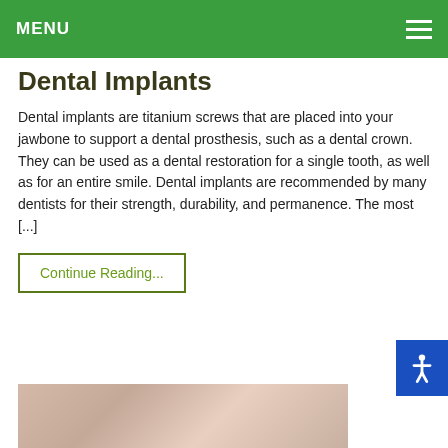MENU
Dental Implants
Dental implants are titanium screws that are placed into your jawbone to support a dental prosthesis, such as a dental crown. They can be used as a dental restoration for a single tooth, as well as for an entire smile. Dental implants are recommended by many dentists for their strength, durability, and permanence. The most [...]
Continue Reading...
[Figure (photo): Partial view of an elderly person's face, smiling or with mouth open, cropped at bottom of page]